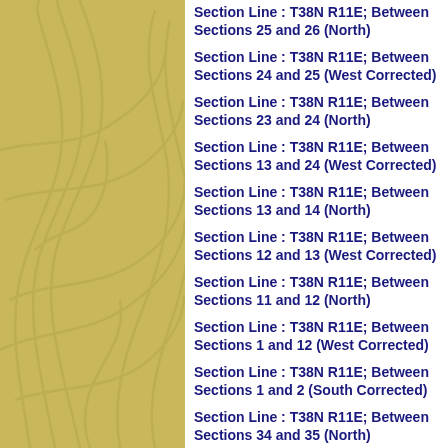Section Line : T38N R11E; Between Sections 25 and 26 (North)
Section Line : T38N R11E; Between Sections 24 and 25 (West Corrected)
Section Line : T38N R11E; Between Sections 23 and 24 (North)
Section Line : T38N R11E; Between Sections 13 and 24 (West Corrected)
Section Line : T38N R11E; Between Sections 13 and 14 (North)
Section Line : T38N R11E; Between Sections 12 and 13 (West Corrected)
Section Line : T38N R11E; Between Sections 11 and 12 (North)
Section Line : T38N R11E; Between Sections 1 and 12 (West Corrected)
Section Line : T38N R11E; Between Sections 1 and 2 (South Corrected)
Section Line : T38N R11E; Between Sections 34 and 35 (North)